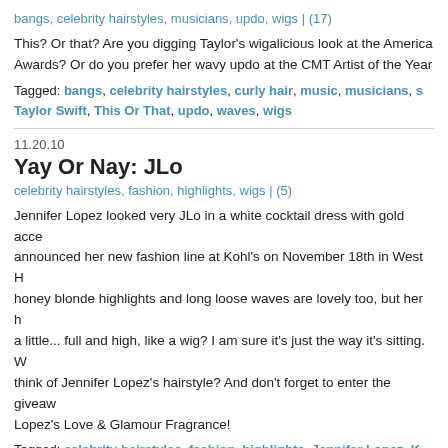bangs, celebrity hairstyles, musicians, updo, wigs | (17)
This? Or that? Are you digging Taylor's wigalicious look at the American Music Awards? Or do you prefer her wavy updo at the CMT Artist of the Year
Tagged: bangs, celebrity hairstyles, curly hair, music, musicians, s... Taylor Swift, This Or That, updo, waves, wigs
11.20.10
Yay Or Nay: JLo
celebrity hairstyles, fashion, highlights, wigs | (5)
Jennifer Lopez looked very JLo in a white cocktail dress with gold acce... announced her new fashion line at Kohl's on November 18th in West H... honey blonde highlights and long loose waves are lovely too, but her h... a little... full and high, like a wig? I am sure it's just the way it's sitting. W... think of Jennifer Lopez's hairstyle? And don't forget to enter the giveaw... Lopez's Love & Glamour Fragrance!
Tagged: celebrity hairstyles, fashion, highlights, Jennifer Lopez, K...
11.15.10